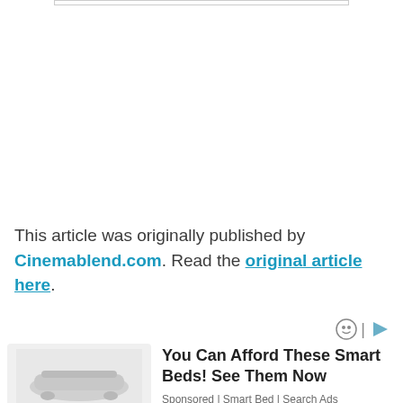This article was originally published by Cinemablend.com. Read the original article here.
[Figure (illustration): Advertisement image placeholder showing a smart bed product]
You Can Afford These Smart Beds! See Them Now
Sponsored | Smart Bed | Search Ads